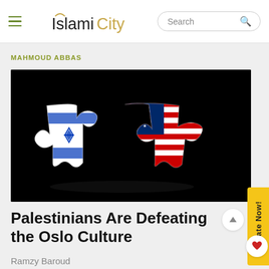IslamiCity
MAHMOUD ABBAS
[Figure (illustration): Two interlocking puzzle pieces on a black background: left piece styled as Israeli flag (white with blue stripes and Star of David), right piece styled as American flag (red, white, blue with stars and stripes).]
Palestinians Are Defeating the Oslo Culture
Ramzy Baroud